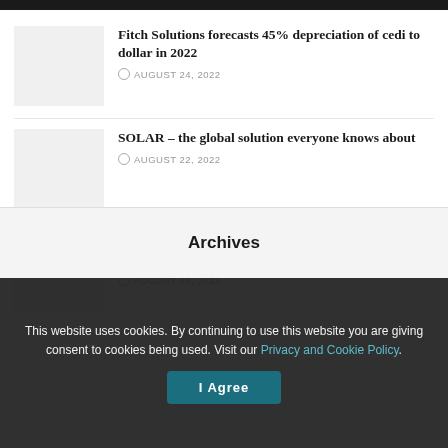Fitch Solutions forecasts 45% depreciation of cedi to dollar in 2022
AUGUST 24, 2022
SOLAR – the global solution everyone knows about
AUGUST 22, 2022
Cedi hits ¢10 to a dollar; BoG measures may halt depreciation in short-term
AUGUST 19, 2022
Archives
This website uses cookies. By continuing to use this website you are giving consent to cookies being used. Visit our Privacy and Cookie Policy.